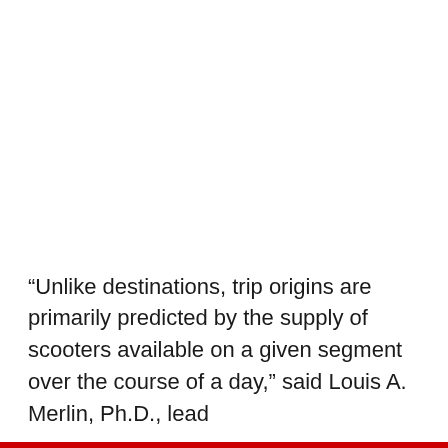“Unlike destinations, trip origins are primarily predicted by the supply of scooters available on a given segment over the course of a day,” said Louis A. Merlin, Ph.D., lead